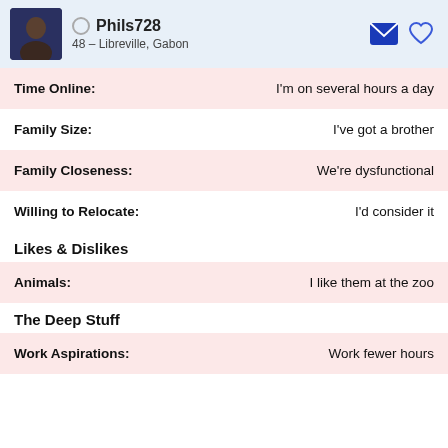Phils728
48 – Libreville, Gabon
| Field | Value |
| --- | --- |
| Time Online: | I'm on several hours a day |
| Family Size: | I've got a brother |
| Family Closeness: | We're dysfunctional |
| Willing to Relocate: | I'd consider it |
Likes & Dislikes
| Field | Value |
| --- | --- |
| Animals: | I like them at the zoo |
The Deep Stuff
| Field | Value |
| --- | --- |
| Work Aspirations: | Work fewer hours |